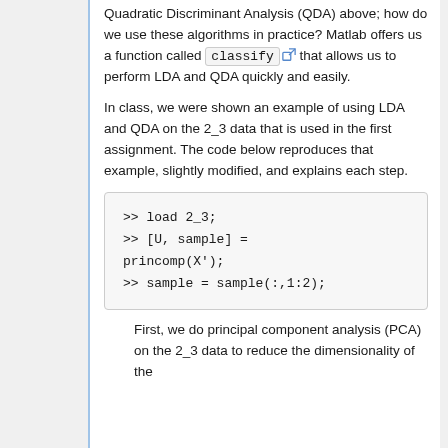Quadratic Discriminant Analysis (QDA) above; how do we use these algorithms in practice? Matlab offers us a function called classify that allows us to perform LDA and QDA quickly and easily.
In class, we were shown an example of using LDA and QDA on the 2_3 data that is used in the first assignment. The code below reproduces that example, slightly modified, and explains each step.
>> load 2_3;
>> [U, sample] =
princomp(X');
>> sample = sample(:,1:2);
First, we do principal component analysis (PCA) on the 2_3 data to reduce the dimensionality of the